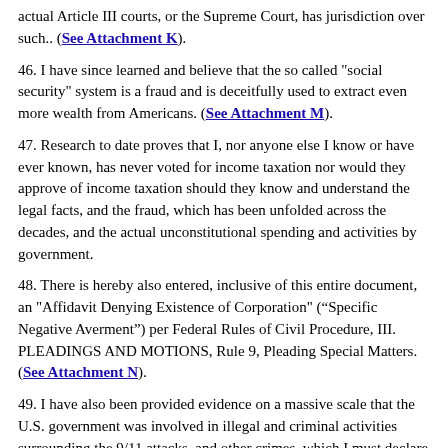actual Article III courts, or the Supreme Court, has jurisdiction over such.. (See Attachment K).
46. I have since learned and believe that the so called "social security" system is a fraud and is deceitfully used to extract even more wealth from Americans. (See Attachment M).
47. Research to date proves that I, nor anyone else I know or have ever known, has never voted for income taxation nor would they approve of income taxation should they know and understand the legal facts, and the fraud, which has been unfolded across the decades, and the actual unconstitutional spending and activities by government.
48. There is hereby also entered, inclusive of this entire document, an "Affidavit Denying Existence of Corporation" (“Specific Negative Averment”) per Federal Rules of Civil Procedure, III. PLEADINGS AND MOTIONS, Rule 9, Pleading Special Matters. (See Attachment N).
49. I have also been provided evidence on a massive scale that the U.S. government was involved in illegal and criminal activities surrounding the 9/11 attacks, and other crimes, which I must declare by material knowledge, and belief of, or be liable in the continuing cover-up. These actions by the government constitute tax exempt IRS illegal activity, all at tax...